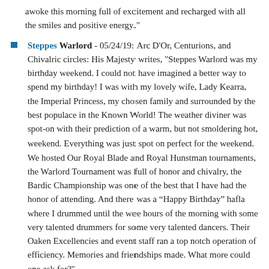awoke this morning full of excitement and recharged with all the smiles and positive energy."
Steppes Warlord - 05/24/19: Arc D'Or, Centurions, and Chivalric circles: His Majesty writes, "Steppes Warlord was my birthday weekend. I could not have imagined a better way to spend my birthday! I was with my lovely wife, Lady Kearra, the Imperial Princess, my chosen family and surrounded by the best populace in the Known World! The weather diviner was spot-on with their prediction of a warm, but not smoldering hot, weekend. Everything was just spot on perfect for the weekend. We hosted Our Royal Blade and Royal Hunstman tournaments, the Warlord Tournament was full of honor and chivalry, the Bardic Championship was one of the best that I have had the honor of attending. And there was a “Happy Birthday” hafla where I drummed until the wee hours of the morning with some very talented drummers for some very talented dancers. Their Oaken Excellencies and event staff ran a top notch operation of efficiency. Memories and friendships made. What more could one ask for?"
Known World Dance - 06/14/19 (Queen): Her Majesty writes, "Home safe from KWDMS! I really enjoyed learning some dances I've never tried before and getting (a little) more familiar with an old favorite or two. I hope those who came from afar to sample Ansteorran hospitality had as much fun as we did! Congratulations to Mistress Myfanwy and her hard-working staff for putting on an impressive Known World event!" / His